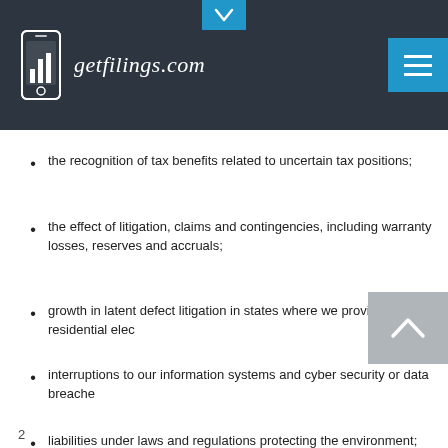[Figure (logo): getfilings.com logo with phone icon on dark header bar]
the recognition of tax benefits related to uncertain tax positions;
the effect of litigation, claims and contingencies, including warranty losses, reserves and accruals;
growth in latent defect litigation in states where we provide residential elec...
interruptions to our information systems and cyber security or data breache...
liabilities under laws and regulations protecting the environment; and
loss of key personnel and effective transition of new management.
2